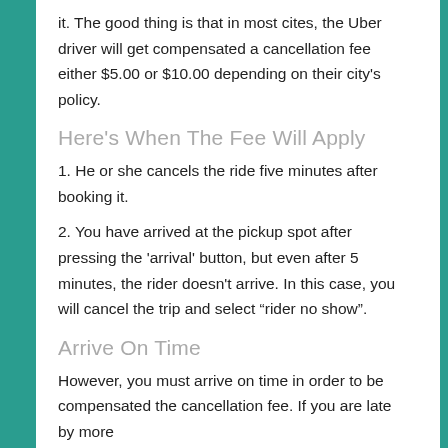it. The good thing is that in most cites, the Uber driver will get compensated a cancellation fee either $5.00 or $10.00 depending on their city's policy.
Here's When The Fee Will Apply
1. He or she cancels the ride five minutes after booking it.
2. You have arrived at the pickup spot after pressing the 'arrival' button, but even after 5 minutes, the rider doesn't arrive. In this case, you will cancel the trip and select “rider no show”.
Arrive On Time
However, you must arrive on time in order to be compensated the cancellation fee. If you are late by more